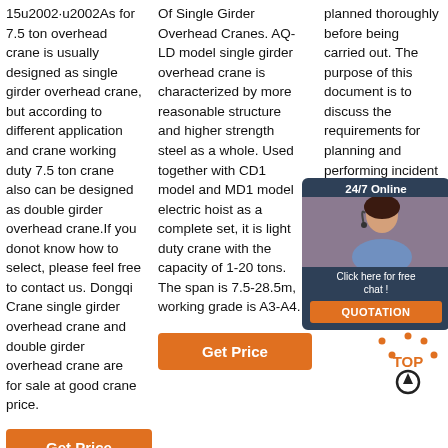15u2002·u2002As for 7.5 ton overhead crane is usually designed as single girder overhead crane, but according to different application and crane working duty 7.5 ton crane also can be designed as double girder overhead crane.If you donot know how to select, please feel free to contact us. Dongqi Crane single girder overhead crane and double girder overhead crane are for sale at good crane price.
[Figure (other): Orange 'Get Price' button in column 1]
Of Single Girder Overhead Cranes. AQ-LD model single girder overhead crane is characterized by more reasonable structure and higher strength steel as a whole. Used together with CD1 model and MD1 model electric hoist as a complete set, it is light duty crane with the capacity of 1-20 tons. The span is 7.5-28.5m, working grade is A3-A4.
[Figure (other): Orange 'Get Price' button in column 2]
planned thoroughly before being carried out. The purpose of this document is to discuss the requirements for planning and performing incident overhead common rigging equipment such as shackles and turnbuckles.
[Figure (other): 24/7 Online chat overlay with agent photo, 'Click here for free chat!' text, and QUOTATION button]
[Figure (other): Orange 'Get Price' button in column 3]
[Figure (other): TOP arrow icon / scroll-to-top button]